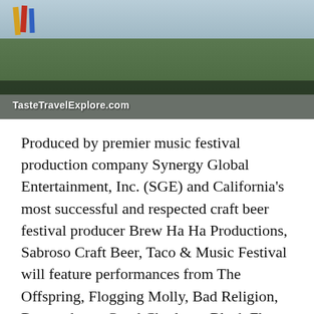[Figure (photo): Outdoor music festival scene with a large crowd on green grass, colorful flags in the background, and a watermark reading TasteTravelExplore.com in the lower left.]
Produced by premier music festival production company Synergy Global Entertainment, Inc. (SGE) and California's most successful and respected craft beer festival producer Brew Ha Ha Productions, Sabroso Craft Beer, Taco & Music Festival will feature performances from The Offspring, Flogging Molly, Bad Religion, Descendents, Good Charlotte, Black Flag, and more, with craft beer tastings (until 4:00 P.M.) from some of the best breweries in the country. Delectable tacos from the region's top chefs and restaurants will be available for purchase,